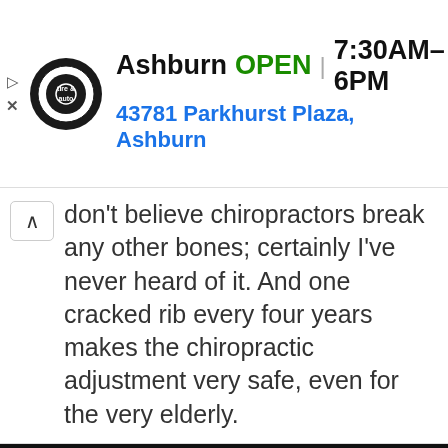[Figure (screenshot): Advertisement banner for Virginia Tire & Auto in Ashburn. Shows circular logo with 'tire & auto' text, business name 'Ashburn', green 'OPEN' label, hours '7:30AM–6PM', address '43781 Parkhurst Plaza, Ashburn', and a blue navigation arrow icon. Play and close icons on left side.]
don't believe chiropractors break any other bones; certainly I've never heard of it. And one cracked rib every four years makes the chiropractic adjustment very safe, even for the very elderly.
This website uses cookies to ensure you get the best experience on our website. Learn more
Got it!
auto-immune diseases, and allergic